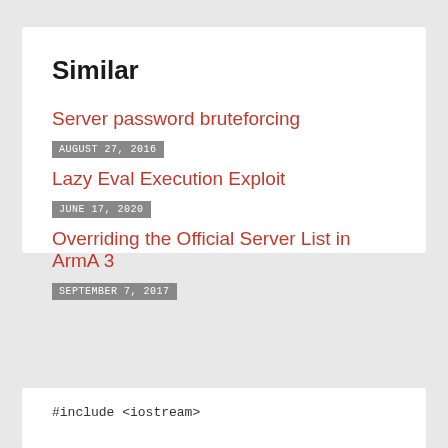Similar
Server password bruteforcing
AUGUST 27, 2016
Lazy Eval Execution Exploit
JUNE 17, 2020
Overriding the Official Server List in ArmA 3
SEPTEMBER 7, 2017
#include <iostream>